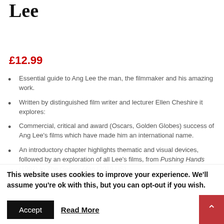Lee
£12.99
Essential guide to Ang Lee the man, the filmmaker and his amazing work.
Written by distinguished film writer and lecturer Ellen Cheshire it explores:
Commercial, critical and award (Oscars, Golden Globes) success of Ang Lee's films which have made him an international name.
An introductory chapter highlights thematic and visual devices, followed by an exploration of all Lee's films, from Pushing Hands (1992) to The Gemini Man (2019 US).
This website uses cookies to improve your experience. We'll assume you're ok with this, but you can opt-out if you wish.
Accept  Read More